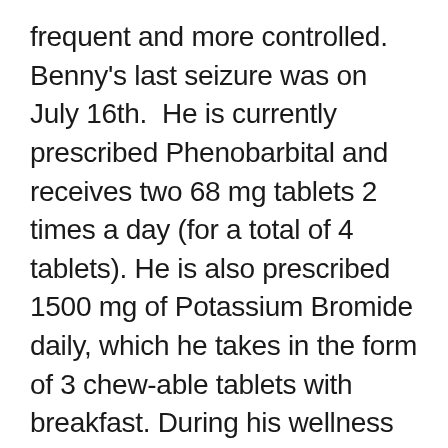frequent and more controlled. Benny's last seizure was on July 16th. He is currently prescribed Phenobarbital and receives two 68 mg tablets 2 times a day (for a total of 4 tablets). He is also prescribed 1500 mg of Potassium Bromide daily, which he takes in the form of 3 chew-able tablets with breakfast. During his wellness exam, the vet was concerned his current dose of Phenobarbital might be too high for his weight. He has a follow-up appointment the 2nd week in August, where his Phenol levels will be checked and his liver and